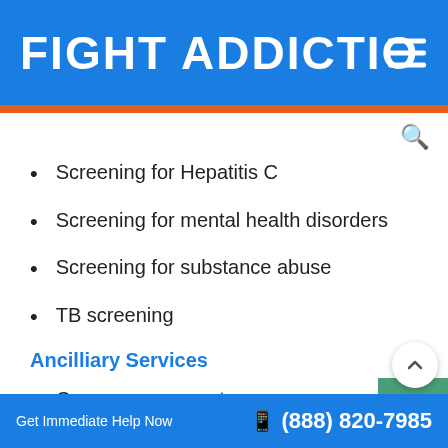FIGHT ADDICTIO
Screening for Hepatitis C
Screening for mental health disorders
Screening for substance abuse
TB screening
Ancilliary Services
Case management
Early intervention for HIV
Get Immediate Help Now  (888) 820-7985